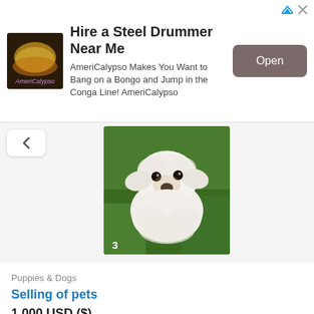[Figure (screenshot): Advertisement banner: Hire a Steel Drummer Near Me - AmeriCalypso with Open button]
Hire a Steel Drummer Near Me
AmeriCalypso Makes You Want to Bang on a Bongo and Jump in the Conga Line! AmeriCalypso
Open
[Figure (photo): White fluffy dog (Maltese or similar breed) sitting on green grass, looking up at camera. Number 3 visible in lower left corner.]
Puppies & Dogs
Selling of pets
1 000 USD ($)
from Texas City
30 July
[Figure (photo): Partial view of electronics listing - smartphone and accessories on tan fabric background, phone screen showing 10:55.]